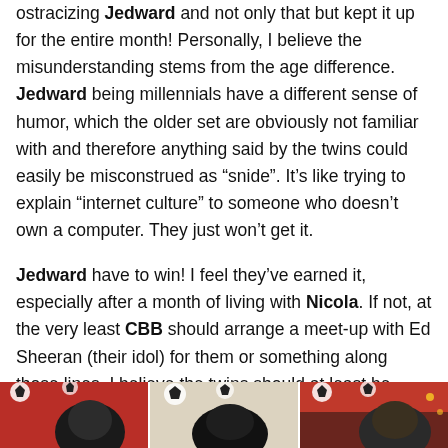ostracizing Jedward and not only that but kept it up for the entire month! Personally, I believe the misunderstanding stems from the age difference. Jedward being millennials have a different sense of humor, which the older set are obviously not familiar with and therefore anything said by the twins could easily be misconstrued as “snide”. It’s like trying to explain “internet culture” to someone who doesn’t own a computer. They just won’t get it.
Jedward have to win! I feel they’ve earned it, especially after a month of living with Nicola. If not, at the very least CBB should arrange a meet-up with Ed Sheeran (their idol) for them or something along those lines. I believe the twins should at least be getting something from this horrible experience!
[Figure (photo): Three partially visible photos at the bottom of the page showing people, appears to be from a TV show or celebrity event with red/black patterned background]